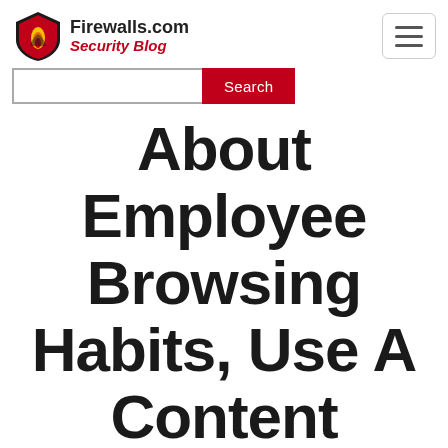Firewalls.com Security Blog
About Employee Browsing Habits, Use A Content Filtering Service
[Figure (logo): Twitter, LinkedIn, and YouTube social media icons in red]